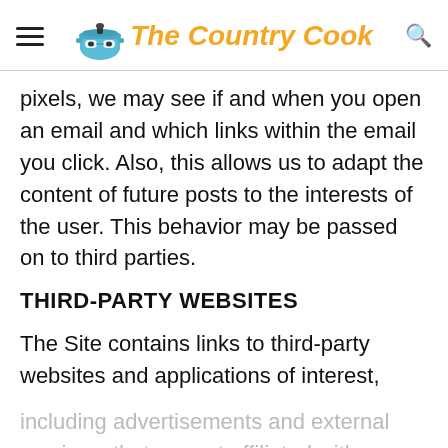The Country Cook
pixels, we may see if and when you open an email and which links within the email you click. Also, this allows us to adapt the content of future posts to the interests of the user. This behavior may be passed on to third parties.
THIRD-PARTY WEBSITES
The Site contains links to third-party websites and applications of interest, including advertisements and external services, that are not affiliated with us